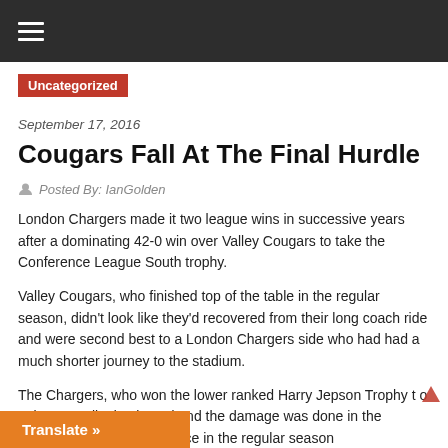☰
Uncategorized
September 17, 2016
Cougars Fall At The Final Hurdle
Posted By: IanGolden
London Chargers made it two league wins in successive years after a dominating 42-0 win over Valley Cougars to take the Conference League South trophy.
Valley Cougars, who finished top of the table in the regular season, didn't look like they'd recovered from their long coach ride and were second best to a London Chargers side who had had a much shorter journey to the stadium.
The Chargers, who won the lower ranked Harry Jepson Trophy to gain pro... tally dominated and the damage was done in the fir... beaten the Cougars twice in the regular season